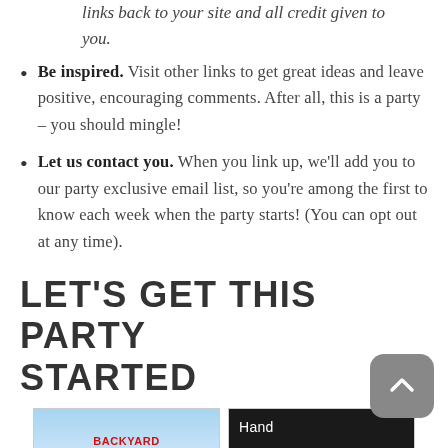links back to your site and all credit given to you.
Be inspired. Visit other links to get great ideas and leave positive, encouraging comments. After all, this is a party – you should mingle!
Let us contact you. When you link up, we'll add you to our party exclusive email list, so you're among the first to know each week when the party starts! (You can opt out at any time).
LET'S GET THIS PARTY STARTED
[Figure (photo): Thumbnail image of Backyard Playground article with blue sky background and red text]
[Figure (photo): Thumbnail image with dark background and white 'Hand' text]